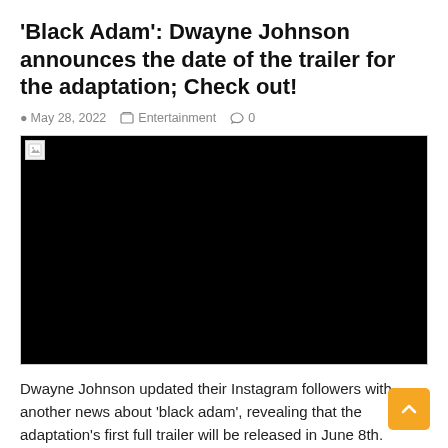'Black Adam': Dwayne Johnson announces the date of the trailer for the adaptation; Check out!
© May 28, 2022   Entertainment   0
[Figure (photo): Black video/image placeholder with a broken image icon in the top-left corner]
Dwayne Johnson updated their Instagram followers with another news about 'black adam', revealing that the adaptation's first full trailer will be released in June 8th. Sharing a never-before-seen behind-the-scenes image, he wrote: "For the millions of fans who know the mythology of the 'black adam' – you understand the